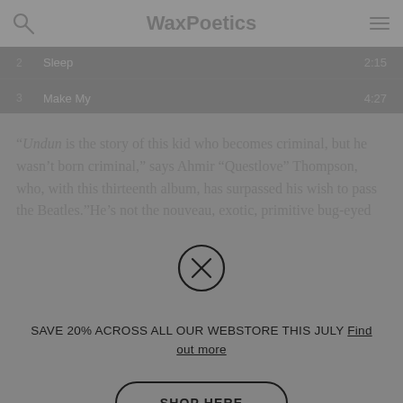WaxPoetics
| # | Title | Duration |
| --- | --- | --- |
| 2 | Sleep | 2:15 |
| 3 | Make My | 4:27 |
“’Undun is the story of this kid who becomes criminal, but he wasn’t born criminal,” says Ahmir “Questlove” Thompson, who, with this thirteenth album, has surpassed his wish to pass the Beatles. “He’s not the nouveau, exotic, primitive bug-eyed
[Figure (other): Close button (circle with X) for dismissing a promotional modal overlay]
SAVE 20% ACROSS ALL OUR WEBSTORE THIS JULY Find out more
SHOP HERE